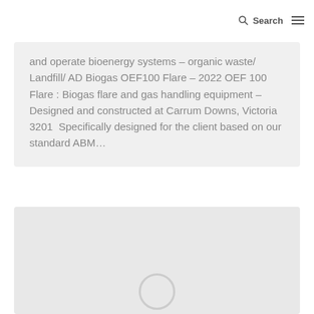Search
and operate bioenergy systems – organic waste/ Landfill/ AD Biogas OEF100 Flare – 2022 OEF 100 Flare : Biogas flare and gas handling equipment – Designed and constructed at Carrum Downs, Victoria 3201  Specifically designed for the client based on our standard ABM…
[Figure (other): Grey placeholder card with a circular loading/play icon near the bottom center, representing a media or image placeholder for a second content listing.]